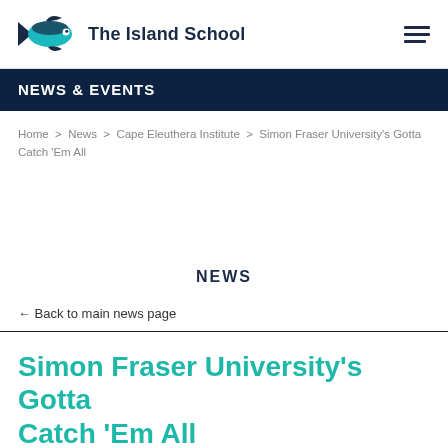The Island School
NEWS & EVENTS
Home > News > Cape Eleuthera Institute > Simon Fraser University's Gotta Catch 'Em All
NEWS
← Back to main news page
Simon Fraser University's Gotta Catch 'Em All